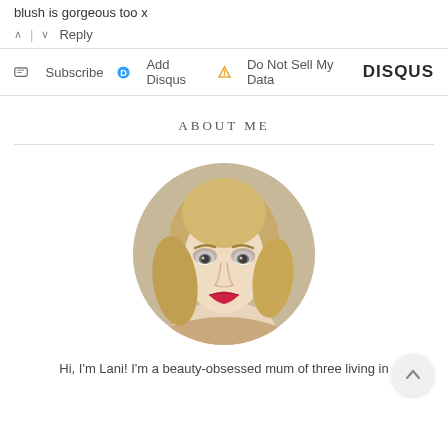blush is gorgeous too x
↑ | ↓  Reply
✉ Subscribe  ⓓ Add Disqus  ⚠ Do Not Sell My Data   DISQUS
ABOUT ME
[Figure (photo): Circular profile photo of a blonde woman with red lipstick and smoky eye makeup]
Hi, I'm Lani! I'm a beauty-obsessed mum of three living in